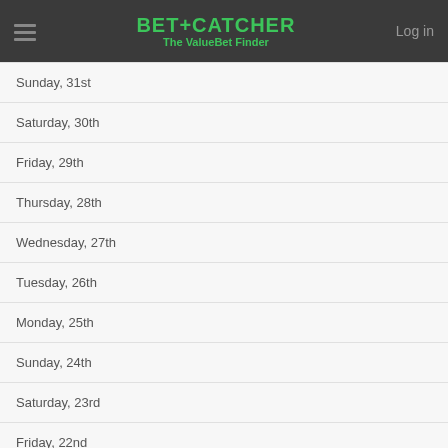BET+CATCHER The ValueBet Finder Log in
Sunday, 31st
Saturday, 30th
Friday, 29th
Thursday, 28th
Wednesday, 27th
Tuesday, 26th
Monday, 25th
Sunday, 24th
Saturday, 23rd
Friday, 22nd
Thursday, 21st
Wednesday, 20th
Tuesday, 19th